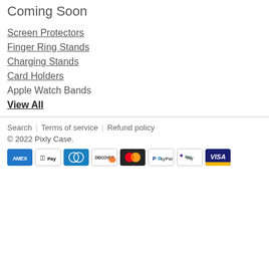Coming Soon
Screen Protectors
Finger Ring Stands
Charging Stands
Card Holders
Apple Watch Bands
View All
Search | Terms of service | Refund policy
© 2022 Pixly Case.
[Figure (logo): Payment method icons: American Express, Apple Pay, Diners Club, Discover, Mastercard, PayPal, Shopify Pay, Visa]